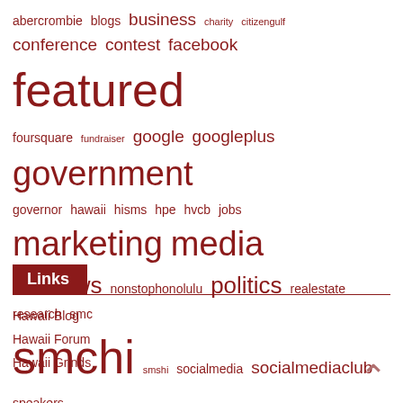[Figure (infographic): Tag cloud with words of varying sizes in dark red/maroon color. Words include: abercrombie, blogs, business, charity, citizengulf, conference, contest, facebook, featured, foursquare, fundraiser, google, googleplus, government, governor, hawaii, hisms, hpe, hvcb, jobs, marketing, media, neenz, news, nonstophonolulu, politics, realestate, research, smc, smchi, smshi, socialmedia, socialmediaclub, speakers, starbulletin, state, summit, tnb, tourism, travel, twitter, uh, video, viral, youtube]
Links
Hawaii Blog
Hawaii Forum
Hawaii Grinds